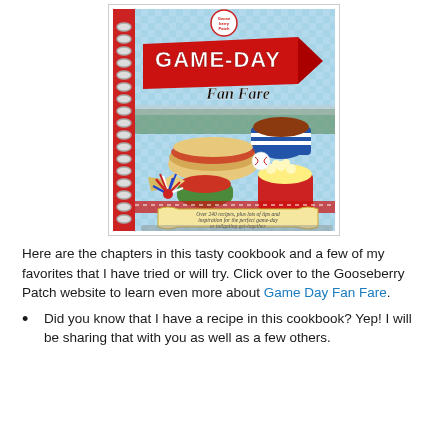[Figure (illustration): Book cover of 'Game-Day Fan Fare' by Gooseberry Patch, a spiral-bound cookbook with illustrated food items including sandwiches, dips, popcorn, and a cheerleader pom-pom on a blue checkered background. Red pennant banner with title text.]
Here are the chapters in this tasty cookbook and a few of my favorites that I have tried or will try. Click over to the Gooseberry Patch website to learn even more about Game Day Fan Fare.
Did you know that I have a recipe in this cookbook? Yep! I will be sharing that with you as well as a few others.